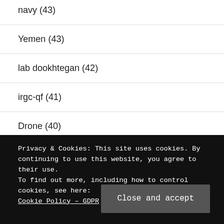navy (43)
Yemen (43)
lab dookhtegan (42)
irgc-qf (41)
Drone (40)
drones (40)
Privacy & Cookies: This site uses cookies. By continuing to use this website, you agree to their use.
To find out more, including how to control cookies, see here: Cookie Policy – GDPR
UAE (38)